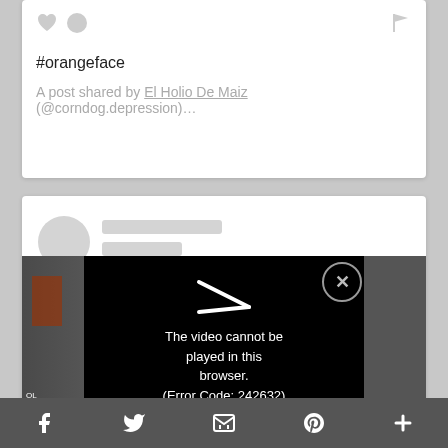#orangeface
A post shared by El Holio De Maiz (@corndog.depression)…
[Figure (screenshot): Loading placeholder card with circular avatar and two gray loading bars]
[Figure (screenshot): Video player overlay showing 'The video cannot be played in this browser. (Error Code: 242632)' with a close button (X) on the right]
[Figure (screenshot): Bottom social sharing bar with Facebook, Twitter, email, Pinterest, and more (+) icons]